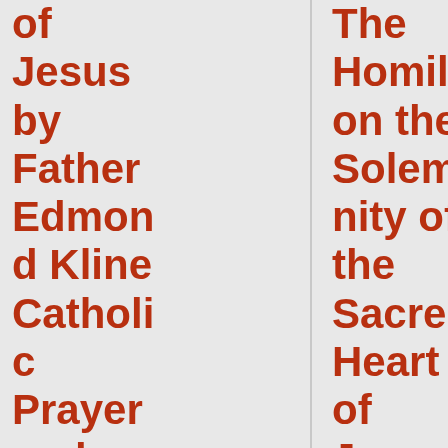of Jesus by Father Edmond Kline Catholic Prayer and Devotion: June the Month of the Sacred Heart
The Homily on the Solemnity of the Sacred Heart of Jesus by Father Edmond Kline Catholic Prayer and
The Homily on the Solemnity of the Sacred Heart of Jesus by Father Edmond Kline Catholic Prayer and